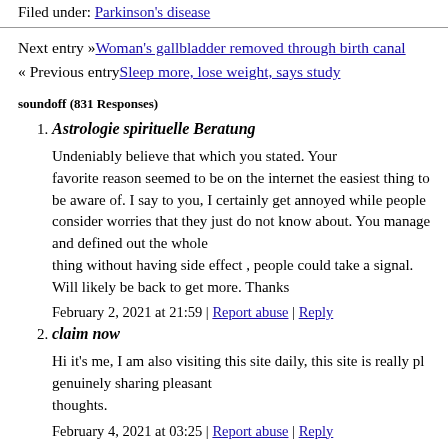Filed under: Parkinson's disease
Next entry »Woman's gallbladder removed through birth canal
« Previous entrySleep more, lose weight, says study
soundoff (831 Responses)
1. Astrologie spirituelle Beratung
Undeniably believe that which you stated. Your favorite reason seemed to be on the internet the easiest thing to be aware of. I say to you, I certainly get annoyed while people consider worries that they just do not know about. You manage and defined out the whole thing without having side effect , people could take a signal. Will likely be back to get more. Thanks
February 2, 2021 at 21:59 | Report abuse | Reply
2. claim now
Hi it's me, I am also visiting this site daily, this site is really pl genuinely sharing pleasant thoughts.
February 4, 2021 at 03:25 | Report abuse | Reply